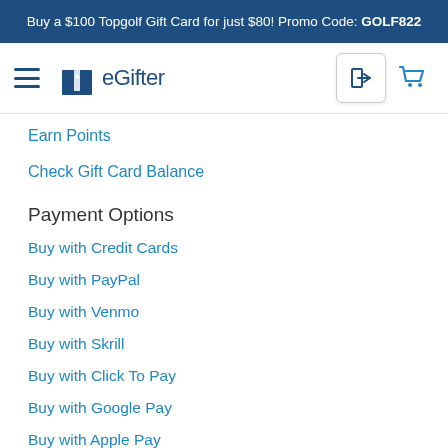Buy a $100 Topgolf Gift Card for just $80! Promo Code: GOLF822
[Figure (logo): eGifter logo with gift box icon and navigation bar including hamburger menu, login button, and cart icon]
Earn Points
Check Gift Card Balance
Payment Options
Buy with Credit Cards
Buy with PayPal
Buy with Venmo
Buy with Skrill
Buy with Click To Pay
Buy with Google Pay
Buy with Apple Pay